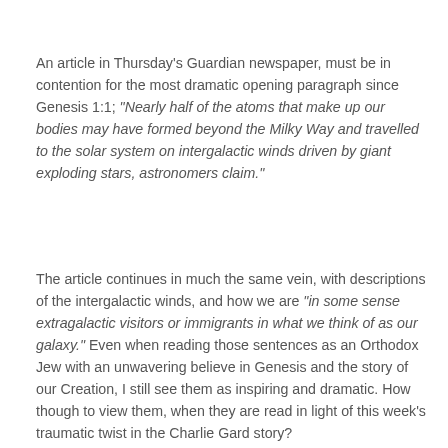An article in Thursday's Guardian newspaper, must be in contention for the most dramatic opening paragraph since Genesis 1:1; “Nearly half of the atoms that make up our bodies may have formed beyond the Milky Way and travelled to the solar system on intergalactic winds driven by giant exploding stars, astronomers claim.”
The article continues in much the same vein, with descriptions of the intergalactic winds, and how we are “in some sense extragalactic visitors or immigrants in what we think of as our galaxy.” Even when reading those sentences as an Orthodox Jew with an unwavering believe in Genesis and the story of our Creation, I still see them as inspiring and dramatic. How though to view them, when they are read in light of this week’s traumatic twist in the Charlie Gard story?